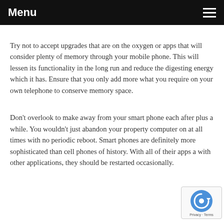Menu
Try not to accept upgrades that are on the oxygen or apps that will consider plenty of memory through your mobile phone. This will lessen its functionality in the long run and reduce the digesting energy which it has. Ensure that you only add more what you require on your own telephone to conserve memory space.
Don't overlook to make away from your smart phone each after plus a while. You wouldn't just abandon your property computer on at all times with no periodic reboot. Smart phones are definitely more sophisticated than cell phones of history. With all of their apps a with other applications, they should be restarted occasionally.